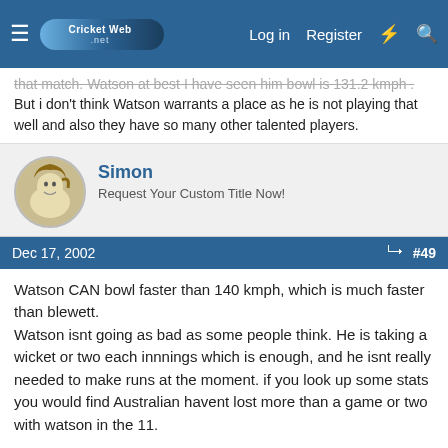CricketWeb - Log in | Register
that match. Watson at best I have seen him bowl is 131.2 kmph. But i don't think Watson warrants a place as he is not playing that well and also they have so many other talented players.
Simon
Request Your Custom Title Now!
Dec 17, 2002  #49
Watson CAN bowl faster than 140 kmph, which is much faster than blewett.
Watson isnt going as bad as some people think. He is taking a wicket or two each innnings which is enough, and he isnt really needed to make runs at the moment. if you look up some stats you would find Australian havent lost more than a game or two with watson in the 11.
Bazza
International 12th Man